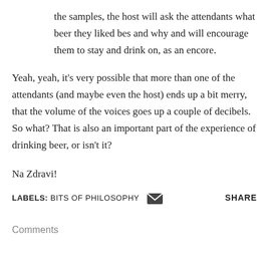the samples, the host will ask the attendants what beer they liked bes and why and will encourage them to stay and drink on, as an encore.
Yeah, yeah, it's very possible that more than one of the attendants (and maybe even the host) ends up a bit merry, that the volume of the voices goes up a couple of decibels. So what? That is also an important part of the experience of drinking beer, or isn't it?
Na Zdravi!
LABELS: BITS OF PHILOSOPHY  SHARE
Comments